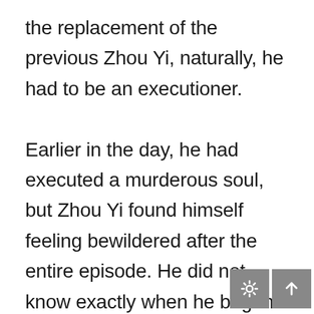the replacement of the previous Zhou Yi, naturally, he had to be an executioner.

Earlier in the day, he had executed a murderous soul, but Zhou Yi found himself feeling bewildered after the entire episode. He did not know exactly when he began to feel this way, but it was a frightening experience that had scared the wits out of him.

After skimming through the memories of his predecessor, the present Zhou Yi vaguely concluded that he had traversed to another